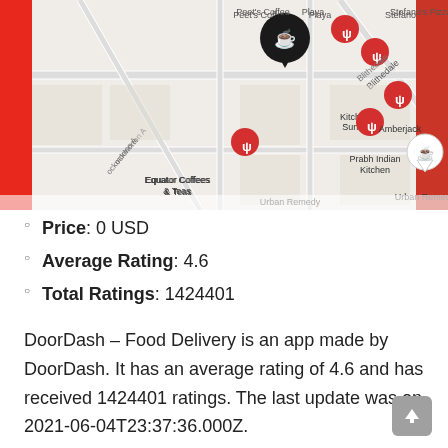[Figure (screenshot): DoorDash app map screenshot showing restaurant pins (red fork/knife icons) and a coffee shop pin (black circle with coffee cup icon) on a street map. Visible locations include Peet's Coffee, Playa, Stefano's Pizza, Equator Coffees & Teas, Kitchen Sunny, Prabh Indian Kitchen, Amberjack, Urban Remedy. Red banners on left and right sides.]
Price: 0 USD
Average Rating: 4.6
Total Ratings: 1424401
DoorDash – Food Delivery is an app made by DoorDash. It has an average rating of 4.6 and has received 1424401 ratings. The last update was on 2021-06-04T23:37:36.000Z.